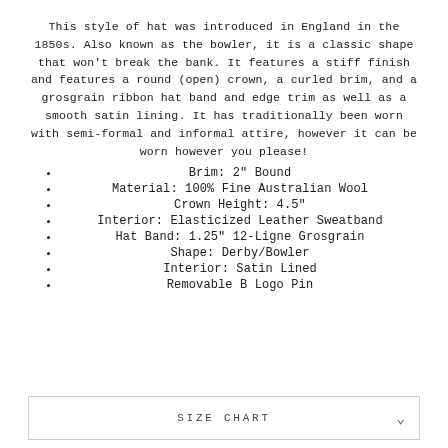This style of hat was introduced in England in the 1850s. Also known as the bowler, it is a classic shape that won't break the bank. It features a stiff finish and features a round (open) crown, a curled brim, and a grosgrain ribbon hat band and edge trim as well as a smooth satin lining. It has traditionally been worn with semi-formal and informal attire, however it can be worn however you please!
Brim: 2" Bound
Material: 100% Fine Australian Wool
Crown Height: 4.5"
Interior: Elasticized Leather Sweatband
Hat Band: 1.25" 12-Ligne Grosgrain
Shape: Derby/Bowler
Interior: Satin Lined
Removable B Logo Pin
SIZE CHART